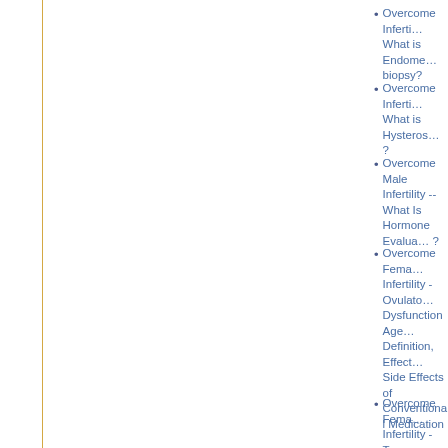Overcome Infertility -- What is Endometrial biopsy?
Overcome Infertility -- What is Hysteroscopy?
Overcome Male Infertility --What Is Hormone Evaluation?
Overcome Female Infertility -Ovulation Dysfunction Agents Definition, Effects Side Effects of Conventional Medication
Overcome Female Infertility - Types Medication of Conventional Medication in Treating Infertility
Overcome Female Infertility -- Conventional Medication Helps